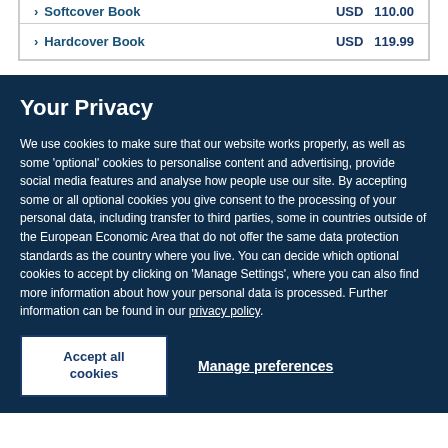Softcover Book   USD  110.00
Hardcover Book   USD  119.99
Your Privacy
We use cookies to make sure that our website works properly, as well as some 'optional' cookies to personalise content and advertising, provide social media features and analyse how people use our site. By accepting some or all optional cookies you give consent to the processing of your personal data, including transfer to third parties, some in countries outside of the European Economic Area that do not offer the same data protection standards as the country where you live. You can decide which optional cookies to accept by clicking on 'Manage Settings', where you can also find more information about how your personal data is processed. Further information can be found in our privacy policy.
Accept all cookies
Manage preferences